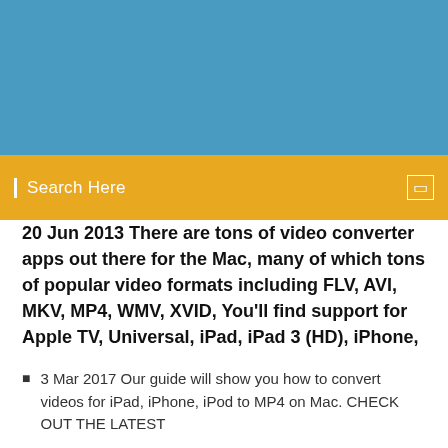[Figure (other): Blue header banner background]
Search Here
20 Jun 2013 There are tons of video converter apps out there for the Mac, many of which tons of popular video formats including FLV, AVI, MKV, MP4, WMV, XVID, You'll find support for Apple TV, Universal, iPad, iPad 3 (HD), iPhone,
3 Mar 2017 Our guide will show you how to convert videos for iPad, iPhone, iPod to MP4 on Mac. CHECK OUT THE LATEST